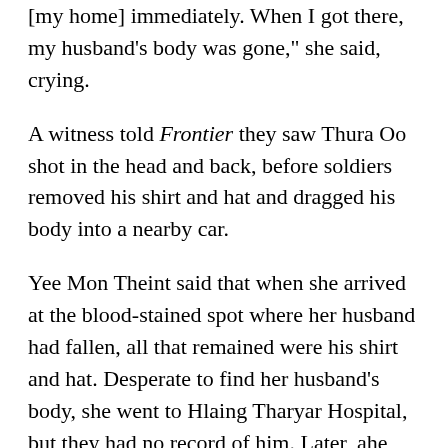[my home] immediately. When I got there, my husband's body was gone,” she said, crying.
A witness told Frontier they saw Thura Oo shot in the head and back, before soldiers removed his shirt and hat and dragged his body into a nearby car.
Yee Mon Theint said that when she arrived at the blood-stained spot where her husband had fallen, all that remained were his shirt and hat. Desperate to find her husband’s body, she went to Hlaing Tharyar Hospital, but they had no record of him. Later, ahe heard a rumour that his body had been dumped in a creek in the industrial zone, but her searches turned up nothing.
Despite not finding his body, Yee Mon Theint